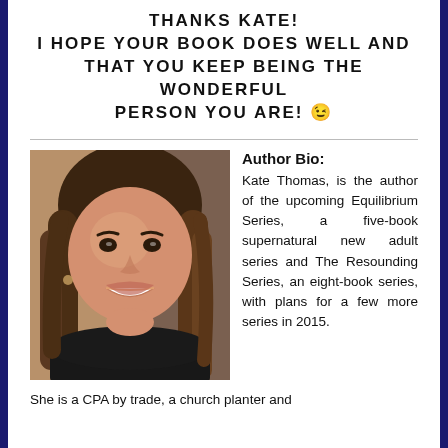THANKS KATE! I HOPE YOUR BOOK DOES WELL AND THAT YOU KEEP BEING THE WONDERFUL PERSON YOU ARE! 😉
[Figure (photo): Photo of author Kate Thomas, a smiling woman with medium-length brown hair, wearing a dark top.]
Author Bio: Kate Thomas, is the author of the upcoming Equilibrium Series, a five-book supernatural new adult series and The Resounding Series, an eight-book series, with plans for a few more series in 2015.
She is a CPA by trade, a church planter and